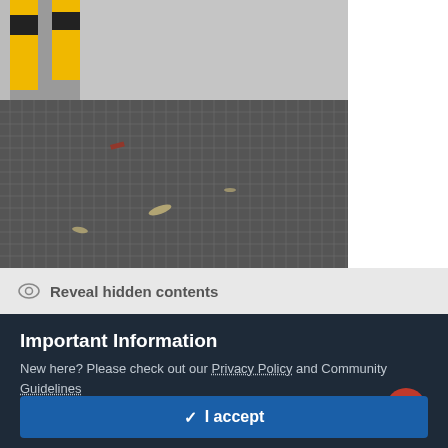[Figure (photo): Photo of a dark metal grid/mesh floor with yellow bollard barriers visible in the top-left corner. The floor has a grid pattern with debris scattered on it.]
Reveal hidden contents
Important Information
New here? Please check out our Privacy Policy and Community Guidelines
✓  I accept